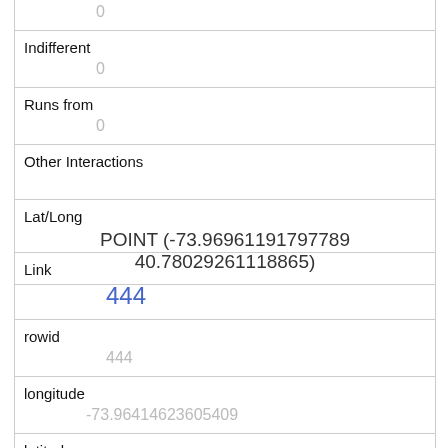|  | 0 |
| Indifferent | 0 |
| Runs from | 0 |
| Other Interactions |  |
| Lat/Long | POINT (-73.96961191797789 40.78029261118865) |
| Link | 444 |
| rowid | 444 |
| longitude | -73.96414623605409 |
| latitude | 40.7778316005464 |
| Unique Squirrel ID | 18I-PM-1007-09 |